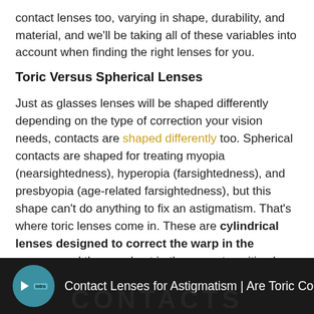contact lenses too, varying in shape, durability, and material, and we'll be taking all of these variables into account when finding the right lenses for you.
Toric Versus Spherical Lenses
Just as glasses lenses will be shaped differently depending on the type of correction your vision needs, contacts are shaped differently too. Spherical contacts are shaped for treating myopia (nearsightedness), hyperopia (farsightedness), and presbyopia (age-related farsightedness), but this shape can't do anything to fix an astigmatism. That's where toric lenses come in. These are cylindrical lenses designed to correct the warp in the cornea, and they are kept in the correct position by gravity and blinking.
[Figure (screenshot): Dark video bar showing a play button icon with 'intro' badge inside a teal circle, followed by the text 'Contact Lenses for Astigmatism | Are Toric Co' in white, with 'CONTACTS' watermark text in background]